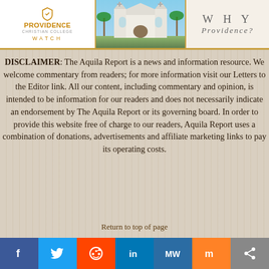[Figure (logo): Providence Christian College Watch logo with shield icon, orange text, and WATCH lettering]
[Figure (photo): Photo of a white church building with palm trees]
[Figure (other): WHY Providence? text banner on light background]
DISCLAIMER: The Aquila Report is a news and information resource. We welcome commentary from readers; for more information visit our Letters to the Editor link. All our content, including commentary and opinion, is intended to be information for our readers and does not necessarily indicate an endorsement by The Aquila Report or its governing board. In order to provide this website free of charge to our readers, Aquila Report uses a combination of donations, advertisements and affiliate marketing links to pay its operating costs.
Return to top of page
[Figure (infographic): Social media sharing bar with Facebook, Twitter, Reddit, LinkedIn, MeWe, Mix, and share icons]